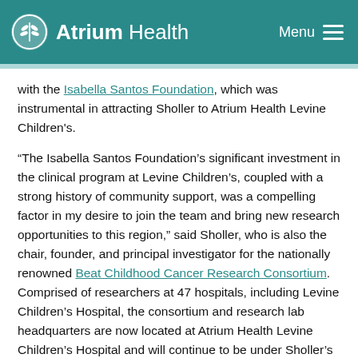Atrium Health   Menu
with the Isabella Santos Foundation, which was instrumental in attracting Sholler to Atrium Health Levine Children's.
“The Isabella Santos Foundation’s significant investment in the clinical program at Levine Children’s, coupled with a strong history of community support, was a compelling factor in my desire to join the team and bring new research opportunities to this region,” said Sholler, who is also the chair, founder, and principal investigator for the nationally renowned Beat Childhood Cancer Research Consortium. Comprised of researchers at 47 hospitals, including Levine Children’s Hospital, the consortium and research lab headquarters are now located at Atrium Health Levine Children’s Hospital and will continue to be under Sholler’s leadership as she begins her new role at Levine Children’s.
“It is the columns that...